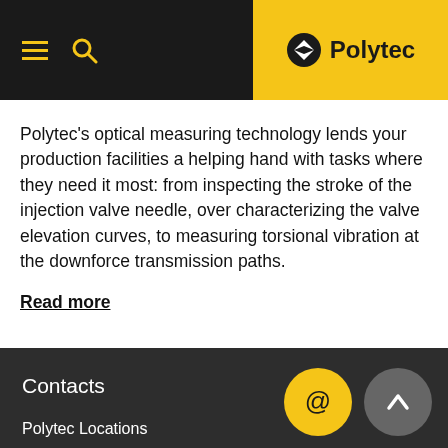Polytec
Polytec's optical measuring technology lends your production facilities a helping hand with tasks where they need it most: from inspecting the stroke of the injection valve needle, over characterizing the valve elevation curves, to measuring torsional vibration at the downforce transmission paths.
Read more
Contacts
Polytec Locations